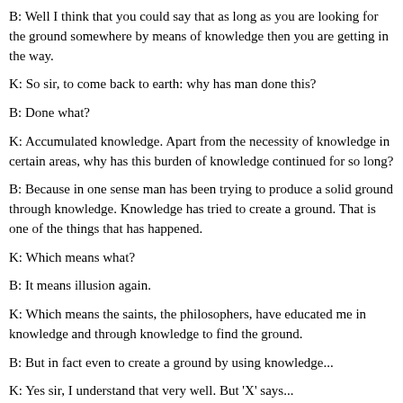B: Well I think that you could say that as long as you are looking for the ground somewhere by means of knowledge then you are getting in the way.
K: So sir, to come back to earth: why has man done this?
B: Done what?
K: Accumulated knowledge. Apart from the necessity of knowledge in certain areas, why has this burden of knowledge continued for so long?
B: Because in one sense man has been trying to produce a solid ground through knowledge. Knowledge has tried to create a ground. That is one of the things that has happened.
K: Which means what?
B: It means illusion again.
K: Which means the saints, the philosophers, have educated me in knowledge and through knowledge to find the ground.
B: But in fact even to create a ground by using knowledge...
K: Yes sir, I understand that very well. But 'X' says...